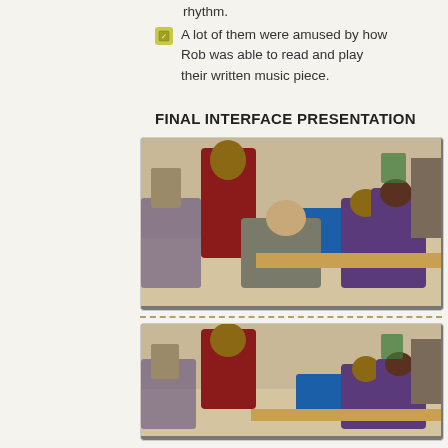rhythm.
A lot of them were amused by how Rob was able to read and play their written music piece.
FINAL INTERFACE PRESENTATION
[Figure (photo): Classroom scene with students and instructor gathered around a laptop; students wearing purple uniforms]
[Figure (photo): Same classroom scene from a slightly different angle, instructor and students around a desk]